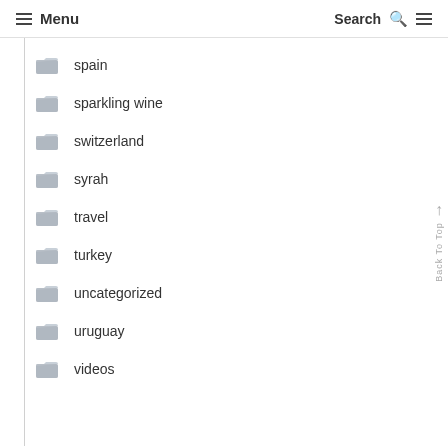Menu  Search
spain
sparkling wine
switzerland
syrah
travel
turkey
uncategorized
uruguay
videos